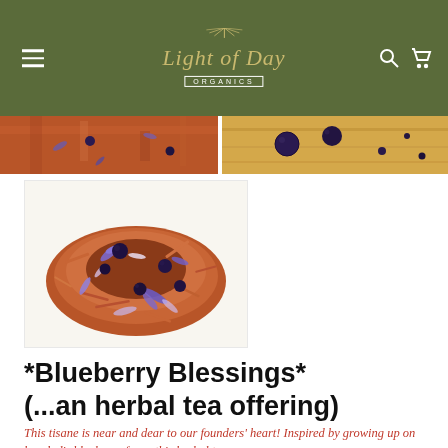Light of Day Organics
[Figure (photo): Close-up of herbal tea blend with reddish-brown rooibos, blue cornflower petals and dark blueberries — top-left thumbnail]
[Figure (photo): Blueberries on wooden surface — top-right thumbnail]
[Figure (photo): Loose herbal tea blend with rooibos, blue cornflower petals and dried blueberries on white background — main large image]
*Blueberry Blessings* (...an herbal tea offering)
This tisane is near and dear to our founders' heart! Inspired by growing up on her dad's blueberry farm, this herbal tea was